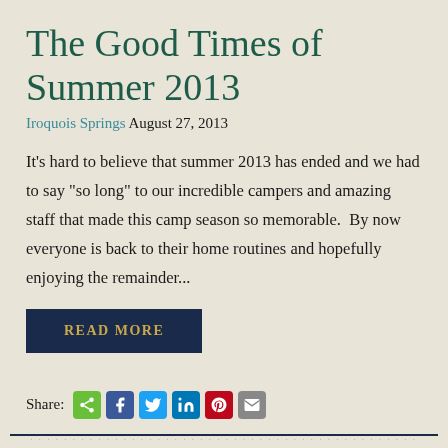The Good Times of Summer 2013
Iroquois Springs August 27, 2013
It’s hard to believe that summer 2013 has ended and we had to say “so long” to our incredible campers and amazing staff that made this camp season so memorable.  By now everyone is back to their home routines and hopefully enjoying the remainder...
[Figure (other): READ MORE button — dark navy blue rectangular button with gold/yellow uppercase text 'READ MORE']
Share: [social share icons: share, facebook, twitter, linkedin, pinterest, email]
decorative divider line